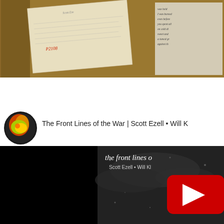[Figure (photo): Photograph of handwritten/typed letters on paper placed on a wooden table. One letter shows the name 'Scott Eze' and a red stamp 'P2108'. Another paper on the right shows partial typewritten text including lines like 'was held', 'I was burned', 'even before', 'you spent all', 'on cold di', 'sweet and', 'a tumcd gr', 'against th'.]
[Figure (screenshot): YouTube video embed screenshot. Header shows a colorful avatar icon and the title 'The Front Lines of the War | Scott Ezell • Will K'. The video thumbnail is a grayscale sky/cloudy scene with an overlay text reading 'the front lines o' and 'Scott Ezell • Will Kl'. A red YouTube play button is centered in the lower half of the video area.]